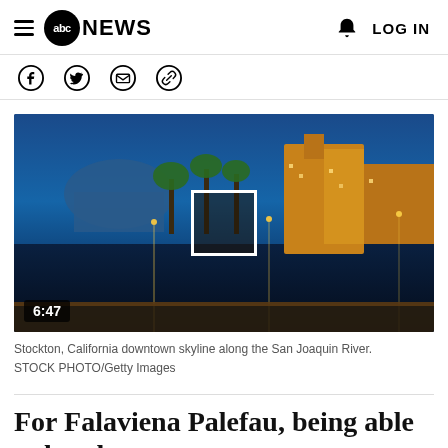abc NEWS  LOG IN
[Figure (other): Social sharing icons: Facebook, Twitter, Email, Link]
[Figure (photo): Stockton, California downtown skyline along the San Joaquin River at night, with city lights reflecting on the water. Video thumbnail with 6:47 timestamp.]
Stockton, California downtown skyline along the San Joaquin River. STOCK PHOTO/Getty Images
For Falaviena Palefau, being able to buy her